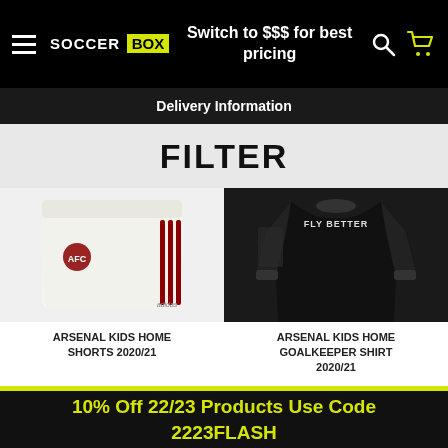SOCCER BOX — Switch to $$$ for best pricing
Delivery Information
FILTER
[Figure (photo): Arsenal Kids Home Shorts 2020/21 — white shorts with red Adidas stripes and Arsenal crest]
ARSENAL KIDS HOME SHORTS 2020/21
[Figure (photo): Arsenal Kids Home Goalkeeper Shirt 2020/21 — black long-sleeve goalkeeper shirt with Fly Better text]
ARSENAL KIDS HOME GOALKEEPER SHIRT 2020/21
10% Off 22/23 Products Use Code 2223FLASH